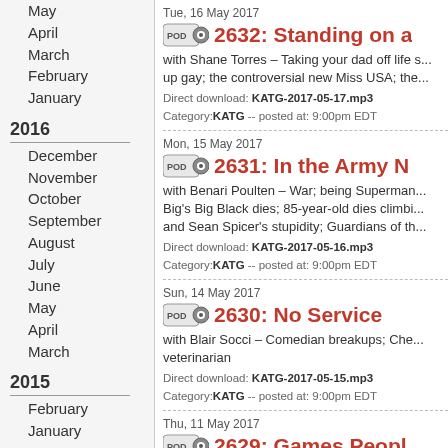May
April
March
February
January
2016
December
November
October
September
August
July
June
May
April
March
2015
February
January
2014
December
November
October
2013
October
February
2012
Tue, 16 May 2017
2632: Standing on a
with Shane Torres – Taking your dad off life s... up gay; the controversial new Miss USA; the...
Direct download: KATG-2017-05-17.mp3
Category:KATG -- posted at: 9:00pm EDT
Mon, 15 May 2017
2631: In the Army N
with Benari Poulten – War; being Superman... Big's Big Black dies; 85-year-old dies climbi... and Sean Spicer's stupidity; Guardians of th...
Direct download: KATG-2017-05-16.mp3
Category:KATG -- posted at: 9:00pm EDT
Sun, 14 May 2017
2630: No Service
with Blair Socci – Comedian breakups; Che... veterinarian
Direct download: KATG-2017-05-15.mp3
Category:KATG -- posted at: 9:00pm EDT
Thu, 11 May 2017
2629: Games Peopl
with J.P. McDade – Roast battles; Blue An...